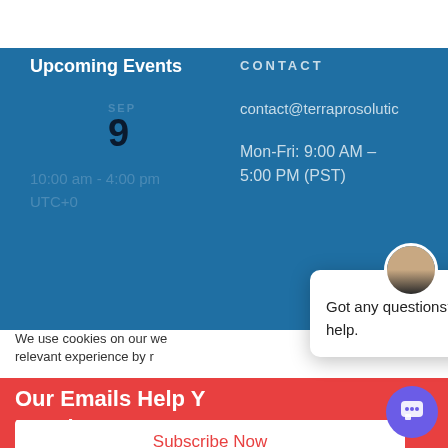Upcoming Events
CONTACT
SEP
9
10:00 am - 4:00 pm
UTC+0
contact@terraprosolutio
Mon-Fri: 9:00 AM – 5:00 PM (PST)
We use cookies on our we relevant experience by r
Our Emails Help W Development Issues
Subscribe Now
Got any questions? I'm happy to help.